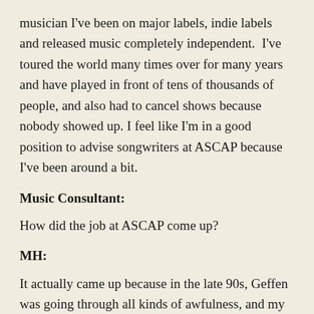musician I've been on major labels, indie labels and released music completely independent.  I've toured the world many times over for many years and have played in front of tens of thousands of people, and also had to cancel shows because nobody showed up. I feel like I'm in a good position to advise songwriters at ASCAP because I've been around a bit.
Music Consultant:
How did the job at ASCAP come up?
MH:
It actually came up because in the late 90s, Geffen was going through all kinds of awfulness, and my band had basically disbanded, and I was a little bit lost as all my other friends that weren't musicians had gone and pursued an education and now were working. I was in my later 20s and without a formal education.  So, I was